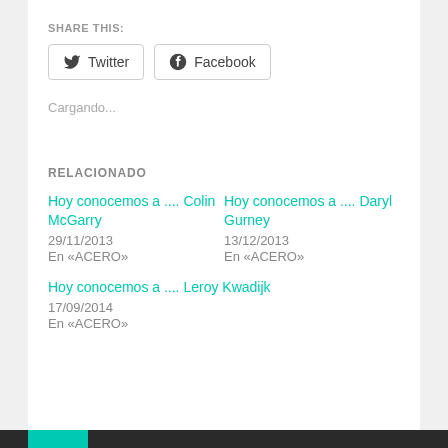SHARE THIS:
Twitter  Facebook
Cargando...
RELACIONADO
Hoy conocemos a .... Colin McGarry
29/11/2013
En «ACERO»
Hoy conocemos a .... Daryl Gurney
13/12/2013
En «ACERO»
Hoy conocemos a .... Leroy Kwadijk
17/09/2014
En «ACERO»